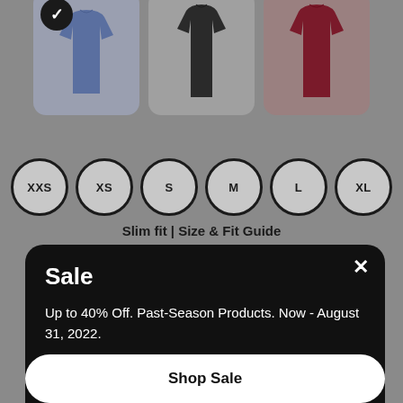[Figure (screenshot): Three product clothing cards showing shirts in blue, dark/black, and maroon colors. The first card has a checkmark overlay indicating selection.]
[Figure (infographic): Six size selector circles labeled XXS, XS, S, M, L, XL with thick black borders on gray background]
Slim fit | Size & Fit Guide
Sale
Up to 40% Off. Past-Season Products. Now - August 31, 2022.
Shop Sale